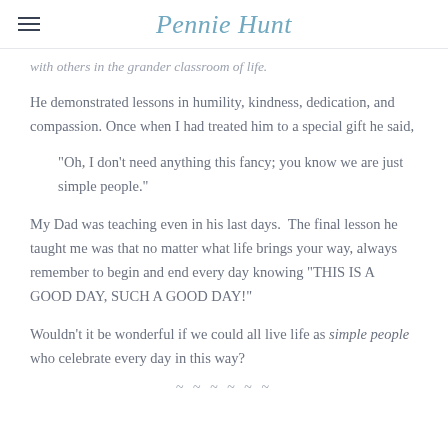Pennie Hunt
with others in the grander classroom of life.
He demonstrated lessons in humility, kindness, dedication, and compassion. Once when I had treated him to a special gift he said,
“Oh, I don’t need anything this fancy; you know we are just simple people.”
My Dad was teaching even in his last days.  The final lesson he taught me was that no matter what life brings your way, always remember to begin and end every day knowing “THIS IS A GOOD DAY, SUCH A GOOD DAY!”
Wouldn’t it be wonderful if we could all live life as simple people who celebrate every day in this way?
~ ~ ~ ~ ~ ~